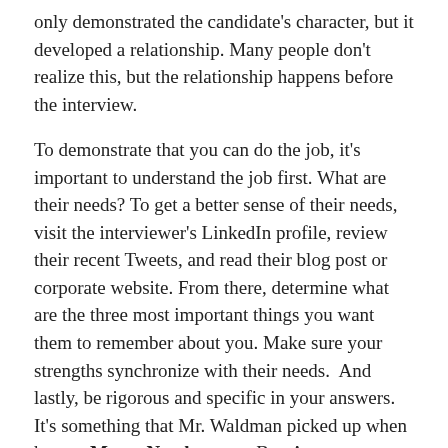only demonstrated the candidate's character, but it developed a relationship. Many people don't realize this, but the relationship happens before the interview.
To demonstrate that you can do the job, it's important to understand the job first. What are their needs? To get a better sense of their needs, visit the interviewer's LinkedIn profile, review their recent Tweets, and read their blog post or corporate website. From there, determine what are the three most important things you want them to remember about you. Make sure your strengths synchronize with their needs.  And lastly, be rigorous and specific in your answers. It's something that Mr. Waldman picked up when he met Marty Nemko, a top Bay Area career coach who also hosts a weekly NPR radio show.
To show your motivation, prepare, prepare, prepare.